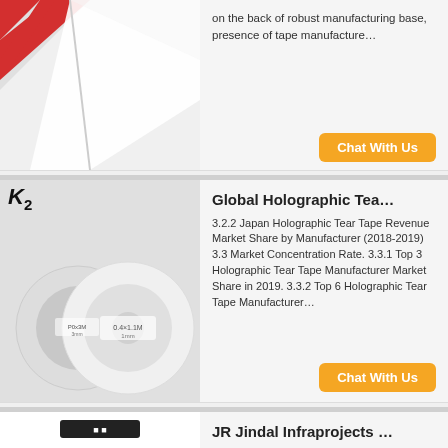[Figure (photo): Partial view of red and white hazard/reflective tape rolls on white background]
on the back of robust manufacturing base, presence of tape manufacture…
Chat With Us
[Figure (photo): K2 logo above white foam tape rolls on grey background]
Global Holographic Tea…
3.2.2 Japan Holographic Tear Tape Revenue Market Share by Manufacturer (2018-2019) 3.3 Market Concentration Rate. 3.3.1 Top 3 Holographic Tear Tape Manufacturer Market Share in 2019. 3.3.2 Top 6 Holographic Tear Tape Manufacturer…
Chat With Us
[Figure (photo): Application scenario image for PVC tape showing industrial floor markings]
JR Jindal Infraprojects …
We, JR Jindal Infraprojects Pvt. Ltd., started in the years in 1912, are one of the foremost manufacturers, exporter and importer of an extensive array of PVC insulation tape, PVC electrical tape, PVC tape log roll, industrial